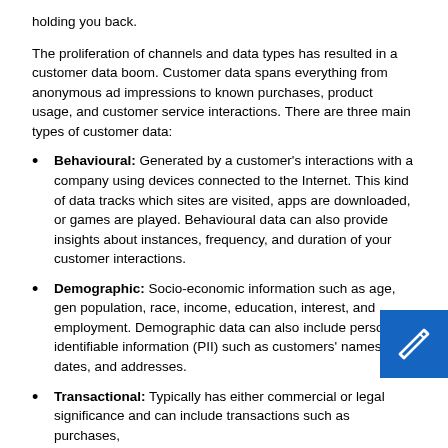holding you back.
The proliferation of channels and data types has resulted in a customer data boom. Customer data spans everything from anonymous ad impressions to known purchases, product usage, and customer service interactions. There are three main types of customer data:
Behavioural: Generated by a customer's interactions with a company using devices connected to the Internet. This kind of data tracks which sites are visited, apps are downloaded, or games are played. Behavioural data can also provide insights about instances, frequency, and duration of your customer interactions.
Demographic: Socio-economic information such as age, gender, population, race, income, education, interest, and employment. Demographic data can also include personally identifiable information (PII) such as customers' names, birth dates, and addresses.
Transactional: Typically has either commercial or legal significance and can include transactions such as purchases,